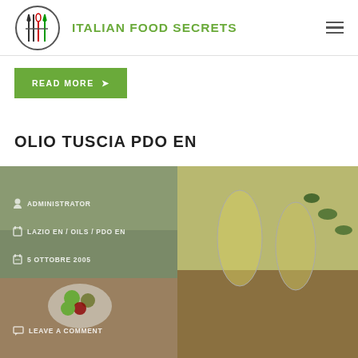ITALIAN FOOD SECRETS
READ MORE →
OLIO TUSCIA PDO EN
[Figure (photo): Composite photograph: left half shows olive branches with olives and a bowl of mixed green and dark olives on a wooden surface with overlay text showing ADMINISTRATOR, LAZIO EN / OILS / PDO EN, 5 OTTOBRE 2005, LEAVE A COMMENT; right half shows two glass carafes/decanters of olive oil with olive branches and rosemary on a wooden board.]